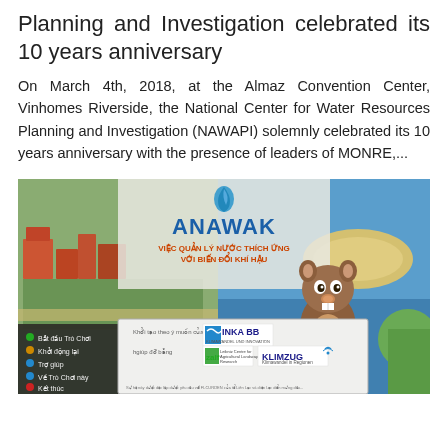Planning and Investigation celebrated its 10 years anniversary
On March 4th, 2018, at the Almaz Convention Center, Vinhomes Riverside, the National Center for Water Resources Planning and Investigation (NAWAPI) solemnly celebrated its 10 years anniversary with the presence of leaders of MONRE,...
[Figure (screenshot): Screenshot of the ANAWAK game/application interface showing a city/map game view on the left with Vietnamese menu options (Bắt đầu Trò Chơi, Khởi động lại, Trợ giúp, Về Trò Chơi này, Kết thúc), the ANAWAK logo with a water droplet icon and text 'VIỆC QUẢN LÝ NƯỚC THÍCH ỨNG VỚI BIẾN ĐỔI KHÍ HẬU', a cartoon beaver mascot, and an overlay popup showing sponsor logos: INKA BB, zalfi (Leibniz Centre for Agricultural Landscape Research), and KLIMZUG (Klimawandel in Regionen).]